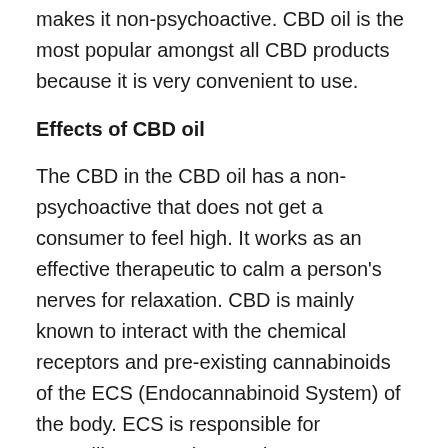makes it non-psychoactive. CBD oil is the most popular amongst all CBD products because it is very convenient to use.
Effects of CBD oil
The CBD in the CBD oil has a non-psychoactive that does not get a consumer to feel high. It works as an effective therapeutic to calm a person's nerves for relaxation. CBD is mainly known to interact with the chemical receptors and pre-existing cannabinoids of the ECS (Endocannabinoid System) of the body. ECS is responsible for controlling sensations and movements.
Possible side effects
Health professionals and the World Health Organization (WHO) believe CBD to be completely safe for